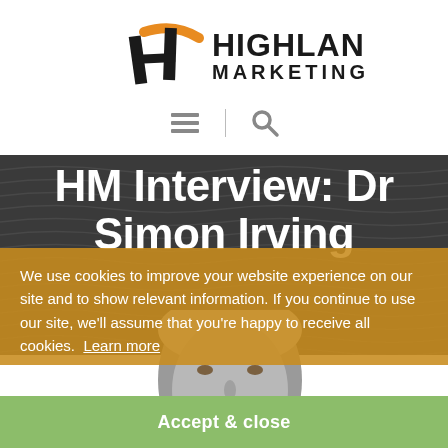[Figure (logo): Highland Marketing logo with orange and black stylized H icon and bold text HIGHLAND MARKETING]
[Figure (other): Navigation bar with hamburger menu icon and search magnifier icon separated by a vertical line]
HM Interview: Dr Simon Irving
We use cookies to improve your website experience on our site and to show relevant information. If you continue to use our site, we'll assume that you're happy to receive all cookies.  Learn more
[Figure (photo): Greyscale photo of a man's face cropped from chin to forehead, partially visible]
Accept & close